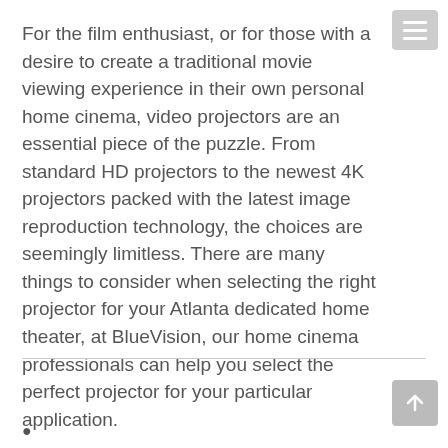For the film enthusiast, or for those with a desire to create a traditional movie viewing experience in their own personal home cinema, video projectors are an essential piece of the puzzle. From standard HD projectors to the newest 4K projectors packed with the latest image reproduction technology, the choices are seemingly limitless. There are many things to consider when selecting the right projector for your Atlanta dedicated home theater, at BlueVision, our home cinema professionals can help you select the perfect projector for your particular application.